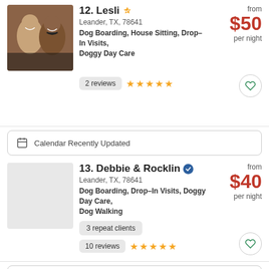[Figure (photo): Profile photo of Lesli - a couple smiling]
12. Lesli ✓ | Leander, TX, 78641 | Dog Boarding, House Sitting, Drop–In Visits, Doggy Day Care | from $50 per night | 2 reviews ★★★★★
Calendar Recently Updated
[Figure (photo): Profile photo placeholder for Debbie & Rocklin]
13. Debbie & Rocklin ✓ | Leander, TX, 78641 | Dog Boarding, Drop–In Visits, Doggy Day Care, Dog Walking | from $40 per night | 3 repeat clients | 10 reviews ★★★★★
Calendar Recently Updated
14. Elizabeth ✓ | from